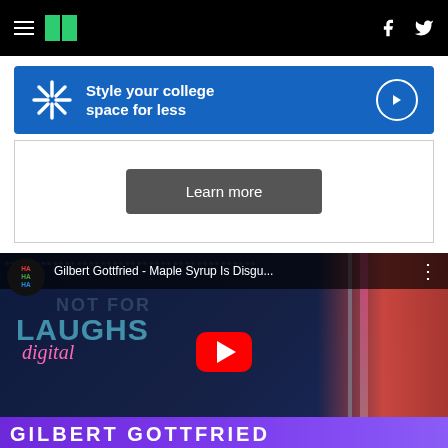HuffPost navigation bar with hamburger menu, logo, Facebook and Twitter icons
[Figure (screenshot): Walmart advertisement banner: blue background with spark logo, text 'Style your college space for less', arrow circle button, and collapse chevron]
[Figure (screenshot): Advertisement secondary panel with 'Learn more' dark button on white background with border]
[Figure (screenshot): YouTube video thumbnail for 'Gilbert Gottfried - Maple Syrup Is Disgu...' from Hot For Laughs Digital channel, showing Gilbert Gottfried in red suit, YouTube play button, and 'GILBERT GOTTFRIED' text at bottom in purple banner]